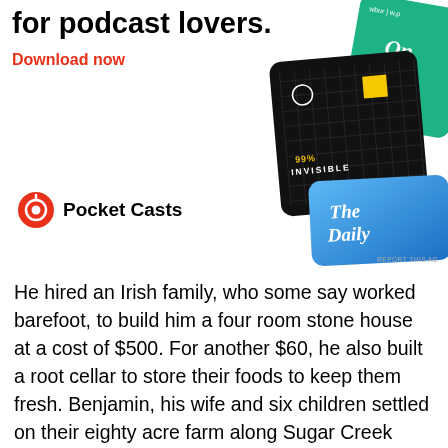[Figure (advertisement): Pocket Casts podcast app advertisement. Shows the text 'for podcast lovers.' with 'Download now' in red, the Pocket Casts logo, and podcast cover art cards including 99% Invisible and The Daily.]
He hired an Irish family, who some say worked barefoot, to build him a four room stone house at a cost of $500. For another $60, he also built a root cellar to store their foods to keep them fresh. Benjamin, his wife and six children settled on their eighty acre farm along Sugar Creek where they made a living raising sheep.